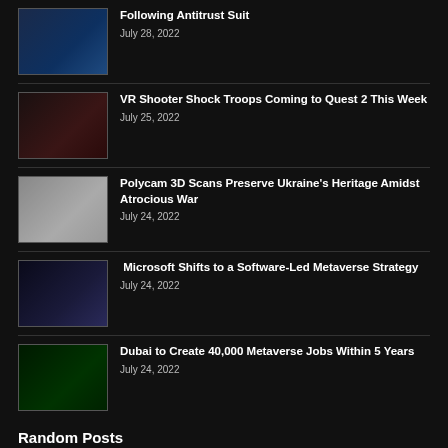Following Antitrust Suit | July 28, 2022
VR Shooter Shock Troops Coming to Quest 2 This Week | July 25, 2022
Polycam 3D Scans Preserve Ukraine's Heritage Amidst Atrocious War | July 24, 2022
Microsoft Shifts to a Software-Led Metaverse Strategy | July 24, 2022
Dubai to Create 40,000 Metaverse Jobs Within 5 Years | July 24, 2022
Random Posts
Nvidia Announces Oculus Rift-compatible Graphics Cards for Laptops | October 4, 2015
The first wave of VR notebooks are coming: Nvidia